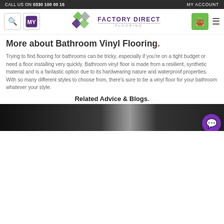CALL US ON 0330 100 00 15 | MY ACCOUNT
[Figure (logo): Factory Direct Flooring logo with colorful diamond shapes and navigation icons (search, my account, cart, hamburger menu)]
More about Bathroom Vinyl Flooring.
Trying to find flooring for bathrooms can be tricky, especially if you’re on a tight budget or need a floor installing very quickly. Bathroom vinyl floor is made from a resilient, synthetic material and is a fantastic option due to its hardwearing nature and waterproof properties. With so many different styles to choose from, there’s sure to be a vinyl floor for your bathroom whatever your style.
Related Advice & Blogs.
[Figure (photo): Dark photograph of a bathroom or kitchen interior with dark cabinetry]